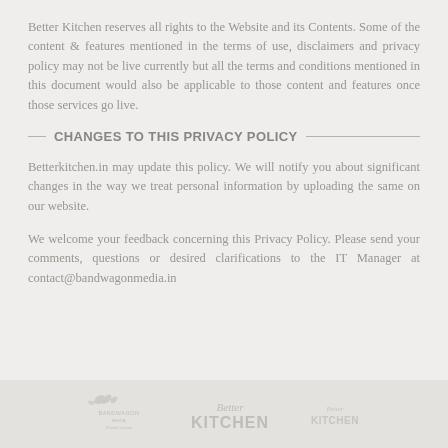Better Kitchen reserves all rights to the Website and its Contents. Some of the content & features mentioned in the terms of use, disclaimers and privacy policy may not be live currently but all the terms and conditions mentioned in this document would also be applicable to those content and features once those services go live.
CHANGES TO THIS PRIVACY POLICY
Betterkitchen.in may update this policy. We will notify you about significant changes in the way we treat personal information by uploading the same on our website.
We welcome your feedback concerning this Privacy Policy. Please send your comments, questions or desired clarifications to the IT Manager at contact@bandwagonmedia.in
[Figure (logo): Three logos in footer: Bandwagon Media logo, Better Kitchen script logo, Better Kitchen smaller logo]